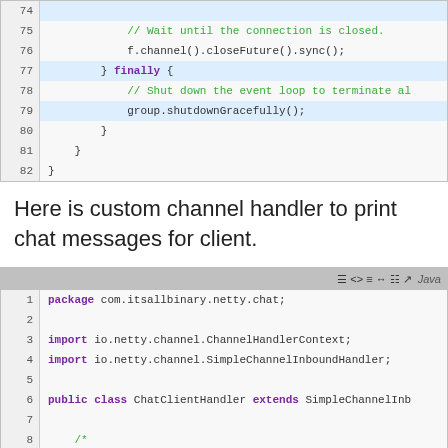[Figure (screenshot): Code block showing Java code lines 74-82 with line numbers, monospace font on light background. Lines include closeFuture().sync(), finally block, shutdownGracefully().]
Here is custom channel handler to print chat messages for client.
[Figure (screenshot): Code block showing Java code lines 1-14 for ChatClientHandler class, with toolbar showing Java label. Includes package declaration, imports, class definition, and channelRead0 method.]